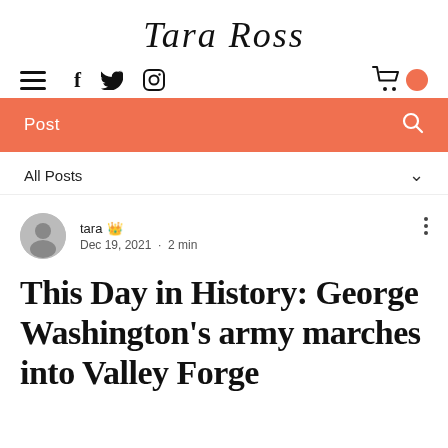Tara Ross
[Figure (logo): Navigation bar with hamburger menu, social icons (f, Twitter bird, Instagram), cart icon, and orange circle accent]
[Figure (infographic): Orange search/navigation bar with text 'Post' and search icon]
All Posts
tara ♛ Dec 19, 2021 · 2 min
This Day in History: George Washington's army marches into Valley Forge